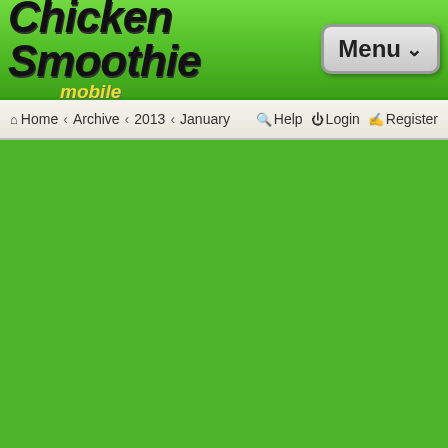Chicken Smoothie mobile — Menu
Home ‹ Archive ‹ 2013 ‹ January   Help  Login  Register